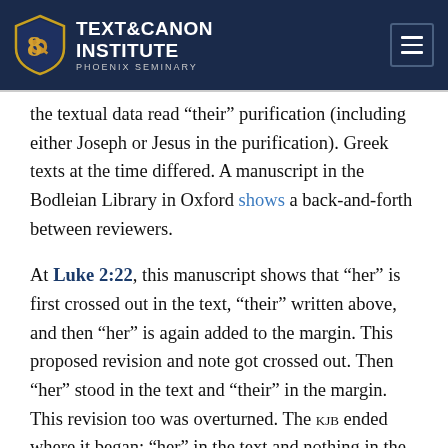TEXT & CANON INSTITUTE — PHOENIX SEMINARY
the textual data read “their” purification (including either Joseph or Jesus in the purification). Greek texts at the time differed. A manuscript in the Bodleian Library in Oxford shows a back-and-forth between reviewers.
At Luke 2:22, this manuscript shows that “her” is first crossed out in the text, “their” written above, and then “her” is again added to the margin. This proposed revision and note got crossed out. Then “her” stood in the text and “their” in the margin. This revision too was overturned. The KJB ended where it began: “her” in the text and nothing in the margin. Documentary